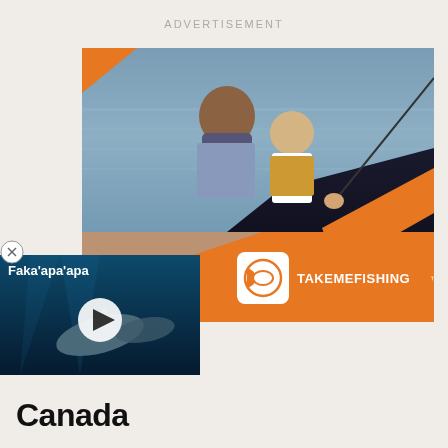ADVERTISEMENT
[Figure (photo): Advertisement banner for TakeMeFishing.org showing a woman and child fishing from a boat on calm water, with an orange and white branded overlay. A video thumbnail overlay shows dolphins underwater with a play button and text 'Faka'apa'apa'.]
Canada